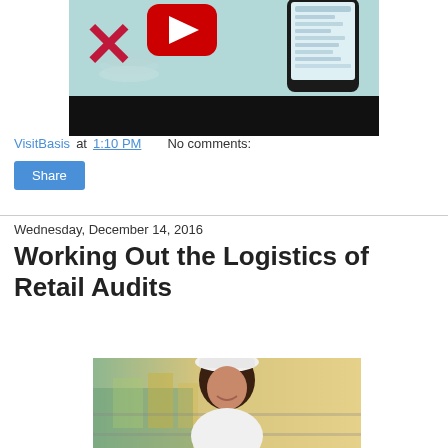[Figure (screenshot): Video thumbnail showing a YouTube play button, red X mark, and a smartphone displaying a list, with teal background and black bar at bottom]
VisitBasis at 1:10 PM   No comments:
Share
Wednesday, December 14, 2016
Working Out the Logistics of Retail Audits
[Figure (photo): Woman in white hat smiling in front of a store shelf with products]